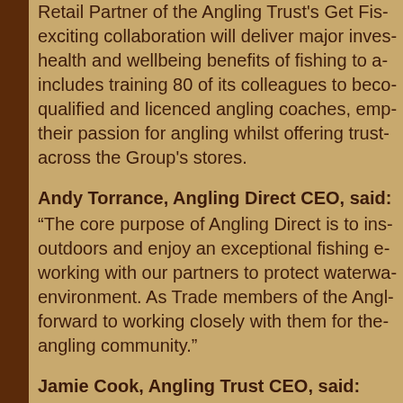Retail Partner of the Angling Trust's Get Fis... exciting collaboration will deliver major inves... health and wellbeing benefits of fishing to a... includes training 80 of its colleagues to beco... qualified and licenced angling coaches, emp... their passion for angling whilst offering truste... across the Group's stores.
Andy Torrance, Angling Direct CEO, said:
“The core purpose of Angling Direct is to ins... outdoors and enjoy an exceptional fishing e... working with our partners to protect waterwa... environment. As Trade members of the Angl... forward to working closely with them for the... angling community.”
Jamie Cook, Angling Trust CEO, said:
“It’s important for the Angling Trust to form s... of angling and I am delighted that Angling D...